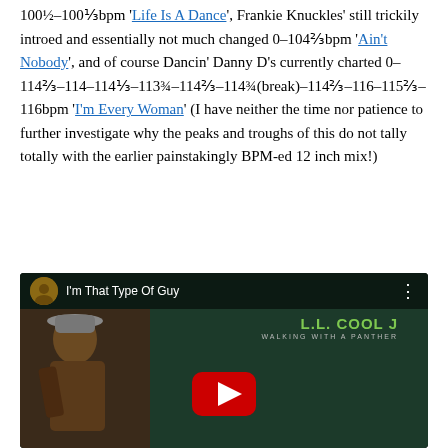100½–100⅓bpm 'Life Is A Dance', Frankie Knuckles' still trickily introed and essentially not much changed 0–104⅔bpm 'Ain't Nobody', and of course Dancin' Danny D's currently charted 0–114⅔–114–114⅓–113¾–114⅔–114¾(break)–114⅔–116–115⅔–116bpm 'I'm Every Woman' (I have neither the time nor patience to further investigate why the peaks and troughs of this do not tally totally with the earlier painstakingly BPM-ed 12 inch mix!)
[Figure (screenshot): YouTube video embed showing 'I'm That Type Of Guy' by LL Cool J - Walking With A Panther album. Dark background with green album text branding and a red YouTube play button.]